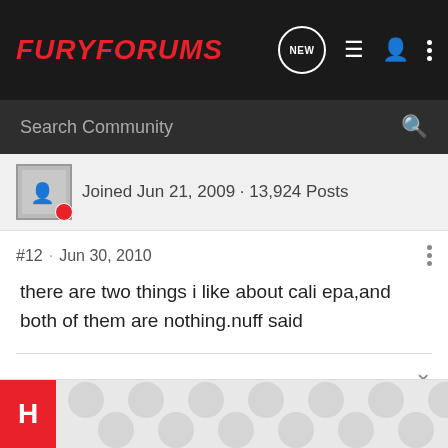FuryForums
Search Community
Joined Jun 21, 2009 · 13,924 Posts
#12 · Jun 30, 2010
there are two things i like about cali epa,and both of them are nothing.nuff said
Salty Hog was here on his Springer Fury and still here.>🙂
[Figure (other): Advertisement placeholder with blob/circle pattern background]